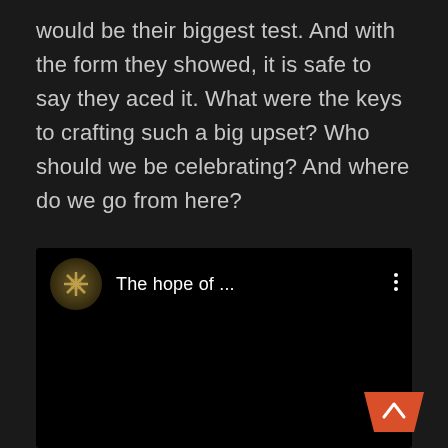would be their biggest test. And with the form they showed, it is safe to say they aced it. What were the keys to crafting such a big upset? Who should we be celebrating? And where do we go from here?
[Figure (screenshot): Embedded video player showing 'The hope of ...' with a circular logo icon featuring an X-like symbol on dark background]
Taking a look at Vision Strikers' opening draft for Bind and we immediately see something shift in their style. With bringing in Kim